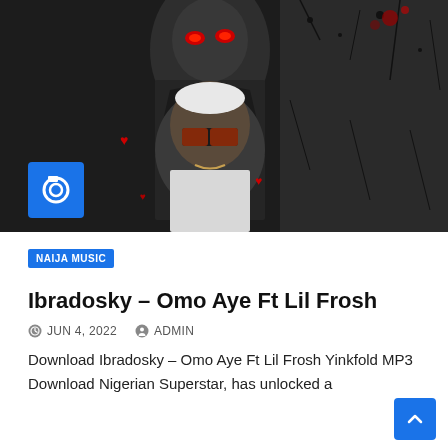[Figure (photo): Black and white dramatic photo of two artists — one with glowing red eyes wearing dark clothing in the background, and another wearing sunglasses and a white t-shirt in the foreground. Red heart decorations are scattered. A blue camera icon badge is overlaid on the lower left of the image.]
NAIJA MUSIC
Ibradosky – Omo Aye Ft Lil Frosh
JUN 4, 2022   ADMIN
Download Ibradosky – Omo Aye Ft Lil Frosh Yinkfold MP3 Download Nigerian Superstar, has unlocked a